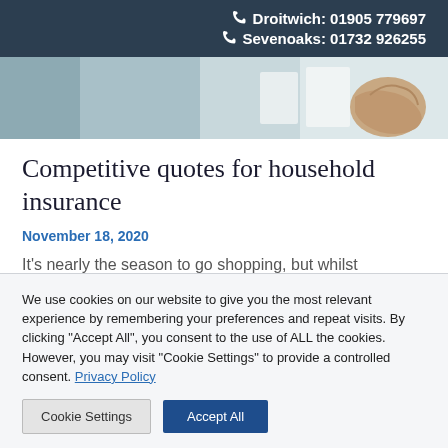Droitwich: 01905 779697
Sevenoaks: 01732 926255
[Figure (photo): A person holding what appears to be cards or papers, partial view of hand against a light background]
Competitive quotes for household insurance
November 18, 2020
It's nearly the season to go shopping, but whilst
We use cookies on our website to give you the most relevant experience by remembering your preferences and repeat visits. By clicking "Accept All", you consent to the use of ALL the cookies. However, you may visit "Cookie Settings" to provide a controlled consent. Privacy Policy
Cookie Settings | Accept All